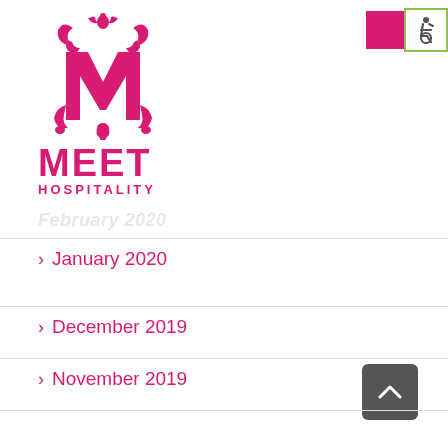[Figure (logo): Meet Hospitality logo: decorative pink M with ornamental flourishes above, bold pink MEET text and HOSPITALITY subtitle below]
[Figure (other): Accessibility icon: pink square next to wheelchair symbol in green-bordered box]
February 2020
> January 2020
> December 2019
> November 2019
> October 2019
> September 2019